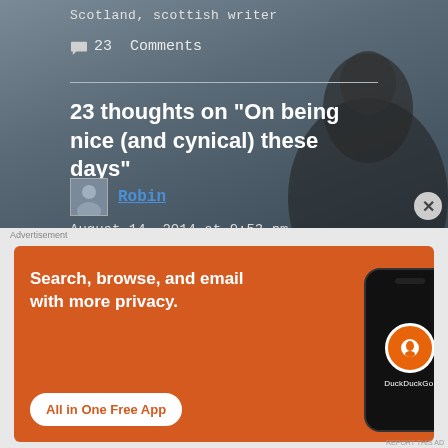Scotland, scottish writer
💬 23 Comments
23 thoughts on “On being nice (and cynical) these days”
Robin
August 14, 2014 at 9:53 pm
I’m with you…just a bit cynical of the kindness of a complete stranger. Can it be
[Figure (screenshot): DuckDuckGo advertisement banner with orange background, text 'Search, browse, and email with more privacy. All in One Free App' and a phone mockup with DuckDuckGo logo]
Advertisement